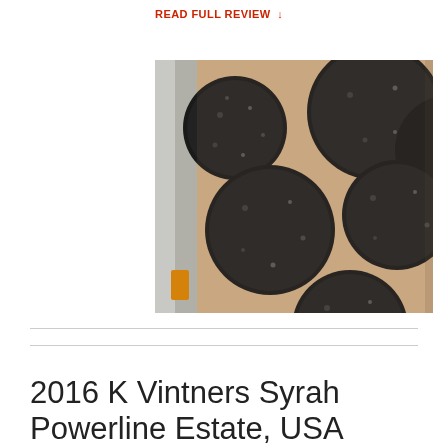READ FULL REVIEW ↓
[Figure (photo): Close-up photo of a wine bottle label with a tan/beige background featuring large black polka dots painted in a textured style. A second bottle is partially visible on the left edge.]
2016 K Vintners Syrah Powerline Estate, USA